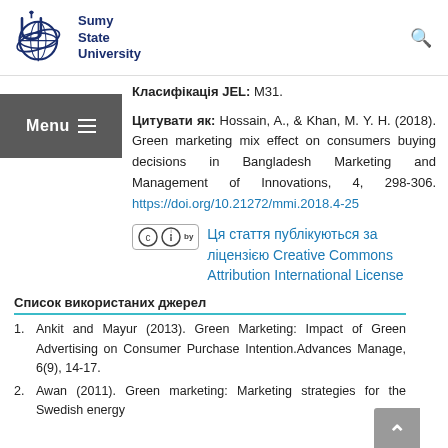[Figure (logo): Sumy State University logo with text]
Класифікація JEL: М31.
Цитувати як: Hossain, A., & Khan, M. Y. H. (2018). Green marketing mix effect on consumers buying decisions in Bangladesh Marketing and Management of Innovations, 4, 298-306. https://doi.org/10.21272/mmi.2018.4-25
[Figure (logo): Creative Commons CC BY license badge]
Ця стаття публікуються за ліцензією Creative Commons Attribution International License
Список використаних джерел
1. Ankit and Mayur (2013). Green Marketing: Impact of Green Advertising on Consumer Purchase Intention.Advances Manage, 6(9), 14-17.
2. Awan (2011). Green marketing: Marketing strategies for the Swedish energy